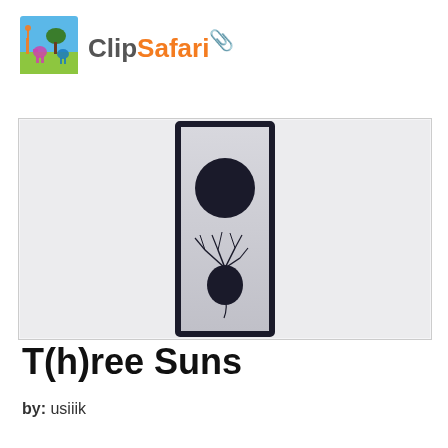[Figure (logo): ClipSafari logo with colorful animal silhouettes (giraffe, elephant, lion, bird) and a green tree on a blue/white background, next to the text ClipSafari in gray and orange with a paperclip icon]
[Figure (illustration): Vertical rectangular panel with dark border on a light gray background. Inside is a large dark circle (sun) at the top, and below it a bulb-like plant with branching roots, resembling an onion or beet silhouette. The background of the panel is a gradient from light to slightly darker gray.]
T(h)ree Suns
by: usiiik